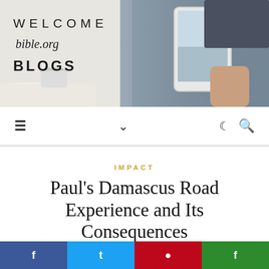[Figure (photo): Website banner header showing 'WELCOME bible.org BLOGS' text on left with a person holding a tablet and coffee cup in background]
[Figure (screenshot): Navigation bar with hamburger menu icon, chevron/dropdown, moon icon, and search icon]
IMPACT
Paul's Damascus Road Experience and Its Consequences
June 6, 2019 / Comments Off
[Figure (other): Social share buttons: Facebook (blue), Twitter (light blue), Pinterest (red), Facebook (green)]